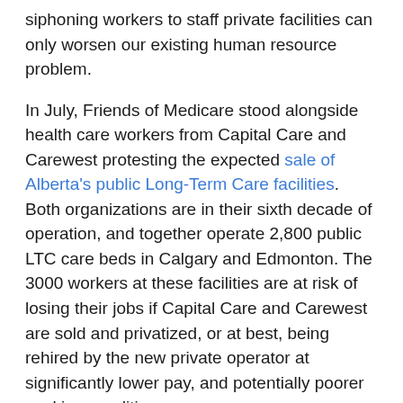siphoning workers to staff private facilities can only worsen our existing human resource problem.
In July, Friends of Medicare stood alongside health care workers from Capital Care and Carewest protesting the expected sale of Alberta's public Long-Term Care facilities. Both organizations are in their sixth decade of operation, and together operate 2,800 public LTC care beds in Calgary and Edmonton. The 3000 workers at these facilities are at risk of losing their jobs if Capital Care and Carewest are sold and privatized, or at best, being rehired by the new private operator at significantly lower pay, and potentially poorer working conditions.
The privatization of continuing care facilities reflects a distressing trend of turning vulnerable Albertans- seniors, veterans and the chronically ill into